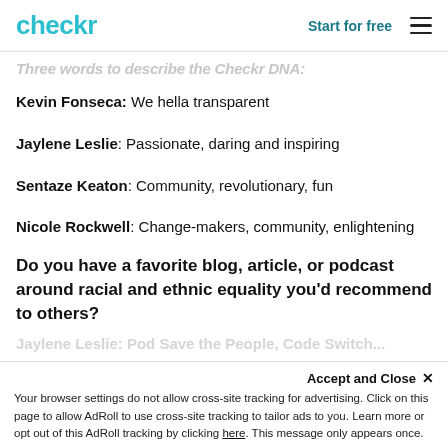checkr | Start for free
Three words to describe the Checkr DNA:
Kevin Fonseca: We hella transparent
Jaylene Leslie: Passionate, daring and inspiring
Sentaze Keaton: Community, revolutionary, fun
Nicole Rockwell: Change-makers, community, enlightening
Do you have a favorite blog, article, or podcast around racial and ethnic equality you'd recommend to others?
Jaylene Leslie: Pod Save the People, Code Switch...
Closing thoughts
Accept and Close ×
Your browser settings do not allow cross-site tracking for advertising. Click on this page to allow AdRoll to use cross-site tracking to tailor ads to you. Learn more or opt out of this AdRoll tracking by clicking here. This message only appears once.